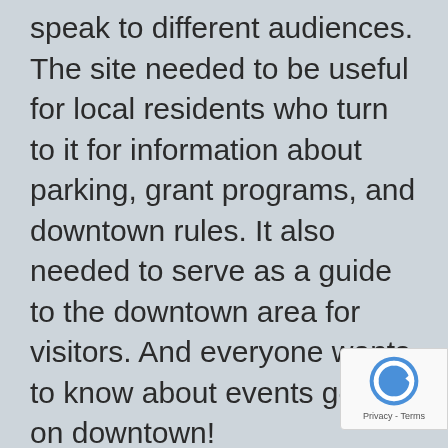speak to different audiences. The site needed to be useful for local residents who turn to it for information about parking, grant programs, and downtown rules. It also needed to serve as a guide to the downtown area for visitors. And everyone wants to know about events going on downtown!
We worked with several members of the DDA staff to plan a content map that would speak to those different users. This was a